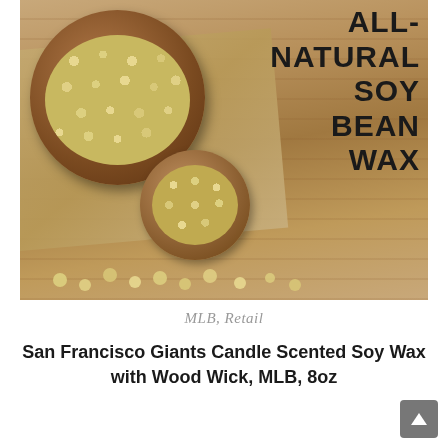[Figure (photo): Photo of soybeans in a wooden bowl with a wooden spoon, on a burlap and wood surface. Bold black text overlay reads: ALL-NATURAL SOY BEAN WAX]
MLB, Retail
San Francisco Giants Candle Scented Soy Wax with Wood Wick, MLB, 8oz